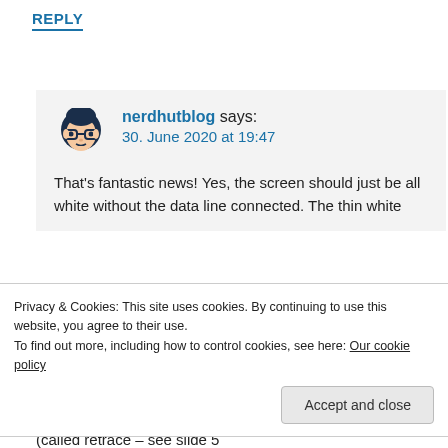REPLY
nerdhutblog says: 30. June 2020 at 19:47
That's fantastic news! Yes, the screen should just be all white without the data line connected. The thin white
Privacy & Cookies: This site uses cookies. By continuing to use this website, you agree to their use.
To find out more, including how to control cookies, see here: Our cookie policy
Accept and close
(called retrace – see slide 5